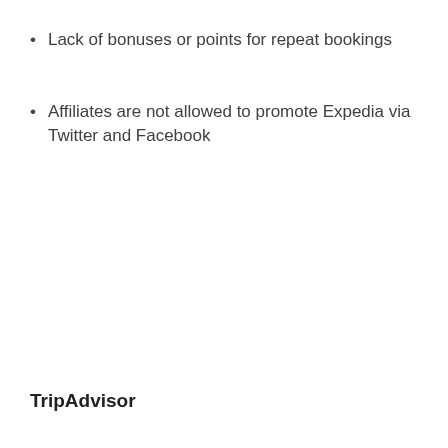Lack of bonuses or points for repeat bookings
Affiliates are not allowed to promote Expedia via Twitter and Facebook
TripAdvisor